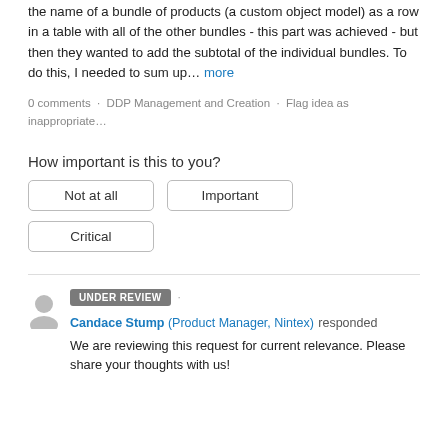the name of a bundle of products (a custom object model) as a row in a table with all of the other bundles - this part was achieved - but then they wanted to add the subtotal of the individual bundles. To do this, I needed to sum up… more
0 comments · DDP Management and Creation · Flag idea as inappropriate…
How important is this to you?
Not at all
Important
Critical
UNDER REVIEW · Candace Stump (Product Manager, Nintex) responded
We are reviewing this request for current relevance. Please share your thoughts with us!